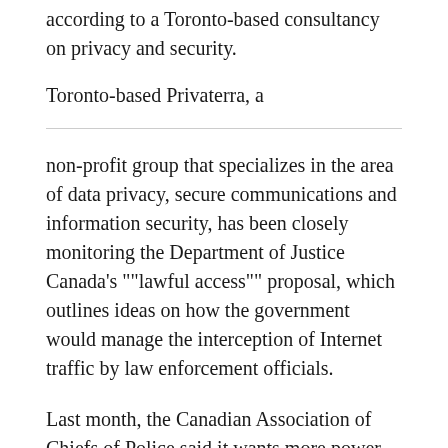according to a Toronto-based consultancy on privacy and security.
Toronto-based Privaterra, a
non-profit group that specializes in the area of data privacy, secure communications and information security, has been closely monitoring the Department of Justice Canada's ""lawful access"" proposal, which outlines ideas on how the government would manage the interception of Internet traffic by law enforcement officials.
Last month, the Canadian Association of Chiefs of Police said it wants more power through the lawful access provision. Increased powers would take the